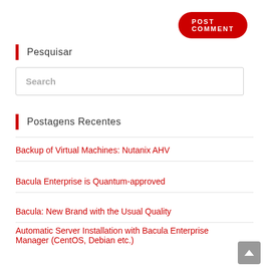POST COMMENT
Pesquisar
Search
Postagens Recentes
Backup of Virtual Machines: Nutanix AHV
Bacula Enterprise is Quantum-approved
Bacula: New Brand with the Usual Quality
Automatic Server Installation with Bacula Enterprise Manager (CentOS, Debian etc.)
Happy New Year 2022